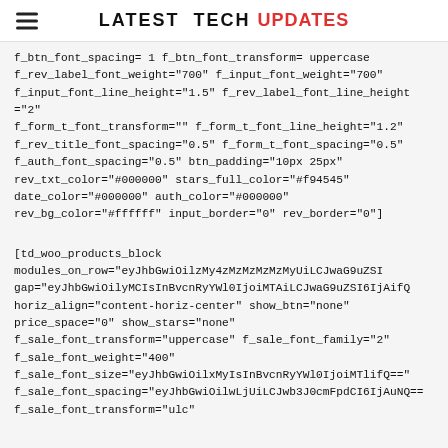LATEST TECH Updates
f_btn_font_spacing= 1 f_btn_font_transform= uppercase f_rev_label_font_weight="700" f_input_font_weight="700" f_input_font_line_height="1.5" f_rev_label_font_line_height="2" f_form_t_font_transform="" f_form_t_font_line_height="1.2" f_rev_title_font_spacing="0.5" f_form_t_font_spacing="0.5" f_auth_font_spacing="0.5" btn_padding="10px 25px" rev_txt_color="#000000" stars_full_color="#f94545" date_color="#000000" auth_color="#000000" rev_bg_color="#ffffff" input_border="0" rev_border="0"]
[td_woo_products_block modules_on_row="eyJhbGwiOilzMy4zMzMzMzMzMyUiLCJwaG9uZSI... gap="eyJhbGwiOilyMCIsInBvcnRyYWl0IjoiMTAiLCJwaG9uZSI6IjAifQ... horiz_align="content-horiz-center" show_btn="none" price_space="0" show_stars="none" f_sale_font_transform="uppercase" f_sale_font_family="2" f_sale_font_weight="400" f_sale_font_size="eyJhbGwiOilxMyIsInBvcnRyYWl0IjoiMTlifQ==" f_sale_font_spacing="eyJhbGwiOilwLjUiLCJwb3J0cmFpdCI6IjAuNQ==